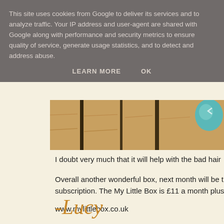This site uses cookies from Google to deliver its services and to analyze traffic. Your IP address and user-agent are shared with Google along with performance and security metrics to ensure quality of service, generate usage statistics, and to detect and address abuse.
LEARN MORE    OK
[Figure (photo): Partial photo showing wooden surface with vertical black stripes and a teal/turquoise rounded object in the upper right corner]
I doubt very much that it will help with the bad hair
Overall another wonderful box, next month will be the subscription. The My Little Box is £11 a month plus
www.mylittlebox.co.uk
-Lucy